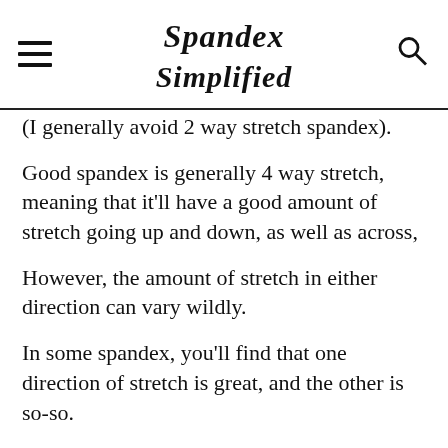Spandex Simplified
(I generally avoid 2 way stretch spandex).
Good spandex is generally 4 way stretch, meaning that it'll have a good amount of stretch going up and down, as well as across,
However, the amount of stretch in either direction can vary wildly.
In some spandex, you'll find that one direction of stretch is great, and the other is so-so.